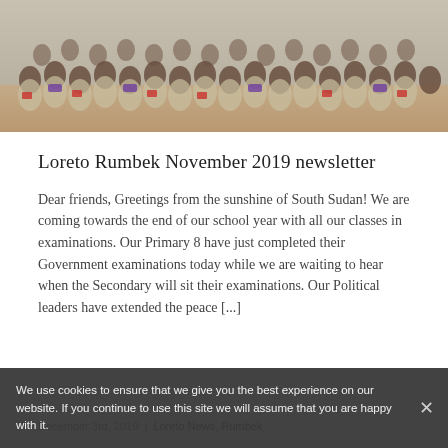[Figure (photo): Large group of school students in uniform sitting outdoors on sandy ground, many holding papers or books, some wearing purple scarves]
Loreto Rumbek November 2019 newsletter
Dear friends, Greetings from the sunshine of South Sudan! We are coming towards the end of our school year with all our classes in examinations. Our Primary 8 have just completed their Government examinations today while we are waiting to hear when the Secondary will sit their examinations. Our Political leaders have extended the peace [...]
December 3rd, 2019 | Loreto News, Rumbek
We use cookies to ensure that we give you the best experience on our website. If you continue to use this site we will assume that you are happy with it.